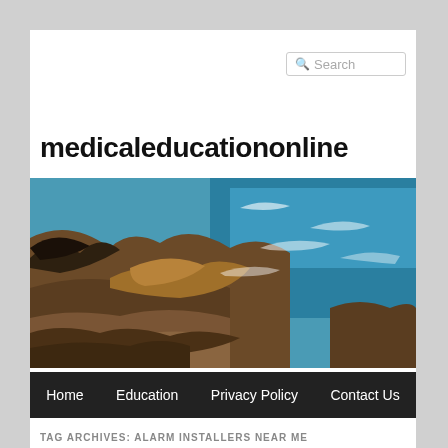Search
medicaleducationonline
[Figure (photo): Coastal rocky shoreline with turquoise ocean waves crashing against rugged brown and grey rocks]
Home  Education  Privacy Policy  Contact Us
TAG ARCHIVES: ALARM INSTALLERS NEAR ME
The Maintenance of Your